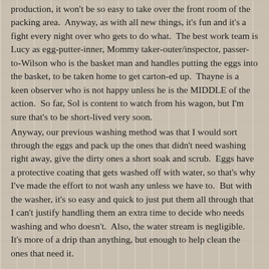production, it won't be so easy to take over the front room of the packing area.  Anyway, as with all new things, it's fun and it's a fight every night over who gets to do what.  The best work team is Lucy as egg-putter-inner, Mommy taker-outer/inspector, passer-to-Wilson who is the basket man and handles putting the eggs into the basket, to be taken home to get carton-ed up.  Thayne is a keen observer who is not happy unless he is the MIDDLE of the action.  So far, Sol is content to watch from his wagon, but I'm sure that's to be short-lived very soon.
Anyway, our previous washing method was that I would sort through the eggs and pack up the ones that didn't need washing right away, give the dirty ones a short soak and scrub.  Eggs have a protective coating that gets washed off with water, so that's why I've made the effort to not wash any unless we have to.  But with the washer, it's so easy and quick to just put them all through that I can't justify handling them an extra time to decide who needs washing and who doesn't.  Also, the water stream is negligible.  It's more of a drip than anything, but enough to help clean the ones that need it.